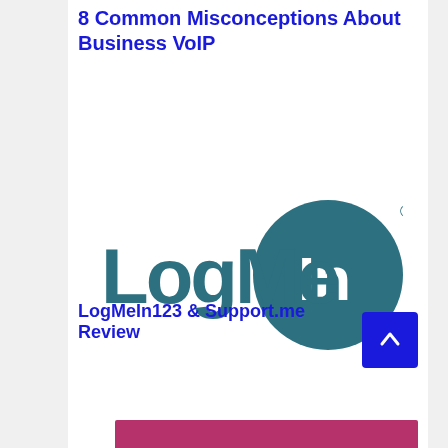8 Common Misconceptions About Business VoIP
[Figure (logo): LogMeIn logo — teal circle with 'LogMeIn' text in teal, registered trademark symbol]
LogMeIn123 & Support.me Review
[Figure (other): Magenta/pink colored bar at bottom of page]